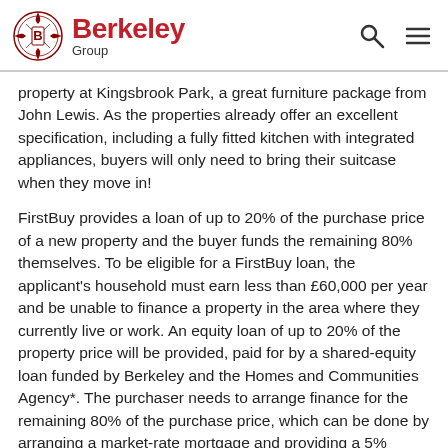Berkeley Group
property at Kingsbrook Park, a great furniture package from John Lewis. As the properties already offer an excellent specification, including a fully fitted kitchen with integrated appliances, buyers will only need to bring their suitcase when they move in!
FirstBuy provides a loan of up to 20% of the purchase price of a new property and the buyer funds the remaining 80% themselves. To be eligible for a FirstBuy loan, the applicant's household must earn less than £60,000 per year and be unable to finance a property in the area where they currently live or work. An equity loan of up to 20% of the property price will be provided, paid for by a shared-equity loan funded by Berkeley and the Homes and Communities Agency*. The purchaser needs to arrange finance for the remaining 80% of the purchase price, which can be done by arranging a market-rate mortgage and providing a 5% deposit.
This means, properties at Kingsbrook Park can be secured for